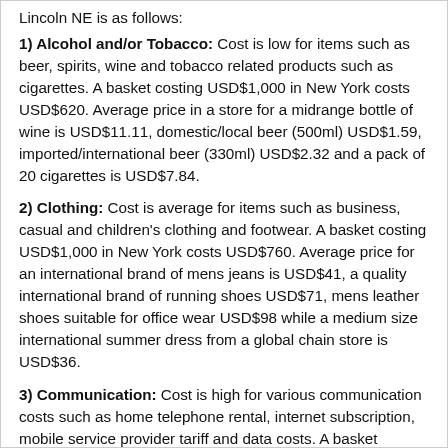Lincoln NE is as follows:
1) Alcohol and/or Tobacco: Cost is low for items such as beer, spirits, wine and tobacco related products such as cigarettes. A basket costing USD$1,000 in New York costs USD$620. Average price in a store for a midrange bottle of wine is USD$11.11, domestic/local beer (500ml) USD$1.59, imported/international beer (330ml) USD$2.32 and a pack of 20 cigarettes is USD$7.84.
2) Clothing: Cost is average for items such as business, casual and children's clothing and footwear. A basket costing USD$1,000 in New York costs USD$760. Average price for an international brand of mens jeans is USD$41, a quality international brand of running shoes USD$71, mens leather shoes suitable for office wear USD$98 while a medium size international summer dress from a global chain store is USD$36.
3) Communication: Cost is high for various communication costs such as home telephone rental, internet subscription, mobile service provider tariff and data costs. A basket costing USD$200 in New York costs USD$234. Average price for a monthly standard plan internet subscription is USD$66, while the benchmark mobile tariff is USD$0.01 per minute.